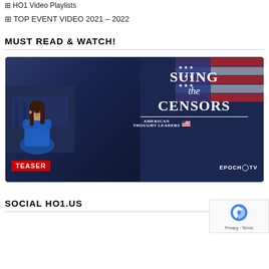⊞ HO1 Video Playlists
⊞ TOP EVENT VIDEO 2021 – 2022
MUST READ & WATCH!
[Figure (screenshot): Video thumbnail showing a woman in a blue dress on the left side, with text overlay reading 'SUING the CENSORS', American Thought Leaders branding, TEASER badge in bottom left, and EpochTV logo in bottom right. Dark background with American flag visible.]
SOCIAL HO1.US